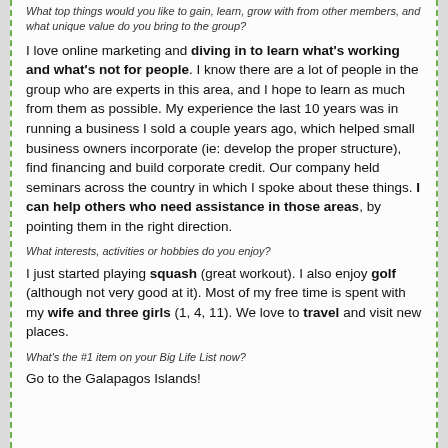What top things would you like to gain, learn, grow with from other members, and what unique value do you bring to the group?
I love online marketing and diving in to learn what's working and what's not for people. I know there are a lot of people in the group who are experts in this area, and I hope to learn as much from them as possible. My experience the last 10 years was in running a business I sold a couple years ago, which helped small business owners incorporate (ie: develop the proper structure), find financing and build corporate credit. Our company held seminars across the country in which I spoke about these things. I can help others who need assistance in those areas, by pointing them in the right direction.
What interests, activities or hobbies do you enjoy?
I just started playing squash (great workout). I also enjoy golf (although not very good at it). Most of my free time is spent with my wife and three girls (1, 4, 11). We love to travel and visit new places.
What's the #1 item on your Big Life List now?
Go to the Galapagos Islands!